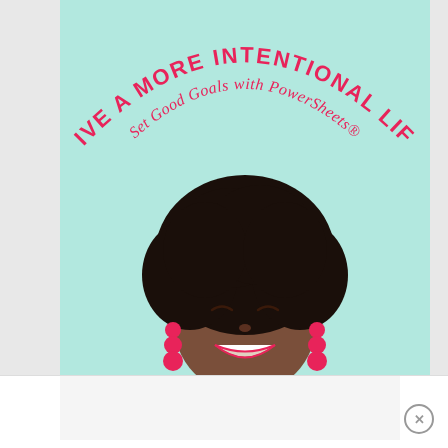[Figure (illustration): Advertisement image with mint/teal background showing a smiling Black woman with natural afro hair, wearing a white top and hot pink bubble earrings, looking downward. Above her head is arched text reading 'LIVE A MORE INTENTIONAL LIFE' in hot pink bold uppercase letters, and below that in a script font 'Set Good Goals with PowerSheets®'. The bottom strip shows a white bar with an X close button and a partial secondary image.]